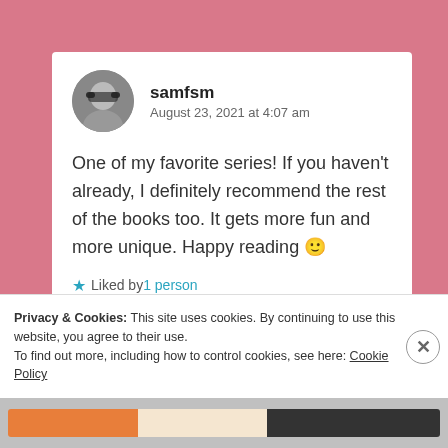[Figure (screenshot): Blog comment by user samfsm dated August 23, 2021 at 4:07 am with circular avatar photo of a woman with sunglasses]
samfsm
August 23, 2021 at 4:07 am
One of my favorite series! If you haven't already, I definitely recommend the rest of the books too. It gets more fun and more unique. Happy reading 🙂
★ Liked by 1 person
Privacy & Cookies: This site uses cookies. By continuing to use this website, you agree to their use.
To find out more, including how to control cookies, see here: Cookie Policy